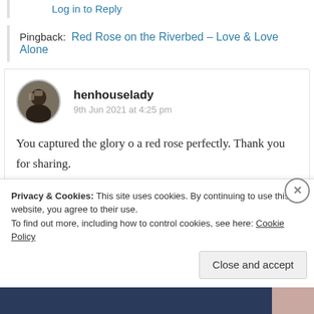Log in to Reply
Pingback:  Red Rose on the Riverbed – Love & Love Alone
henhouselady
9th Jun 2021 at 4:25 pm
You captured the glory o a red rose perfectly. Thank you for sharing.
Privacy & Cookies: This site uses cookies. By continuing to use this website, you agree to their use.
To find out more, including how to control cookies, see here: Cookie Policy
Close and accept